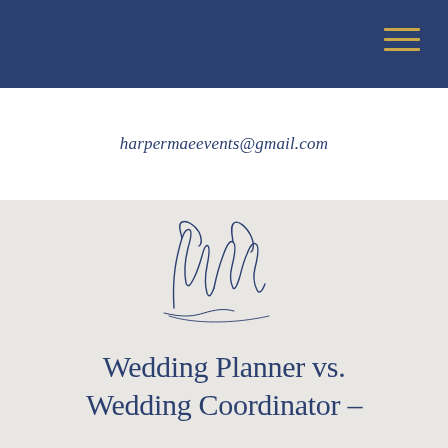Navigation bar with hamburger menu
harpermaeevents@gmail.com
[Figure (logo): Decorative script monogram logo with intertwined letters HM in navy blue on light grey background]
Wedding Planner vs. Wedding Coordinator –